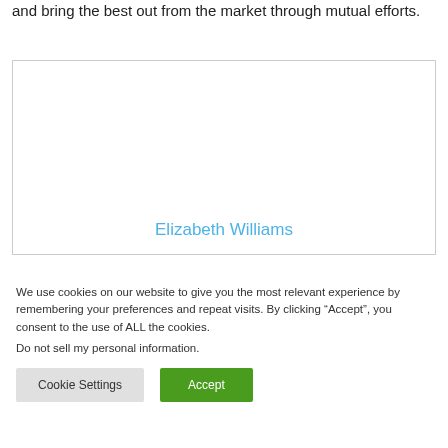and bring the best out from the market through mutual efforts.
[Figure (photo): Image placeholder box with the name 'Elizabeth Williams' displayed in blue text at the bottom center]
We use cookies on our website to give you the most relevant experience by remembering your preferences and repeat visits. By clicking “Accept”, you consent to the use of ALL the cookies.
Do not sell my personal information.